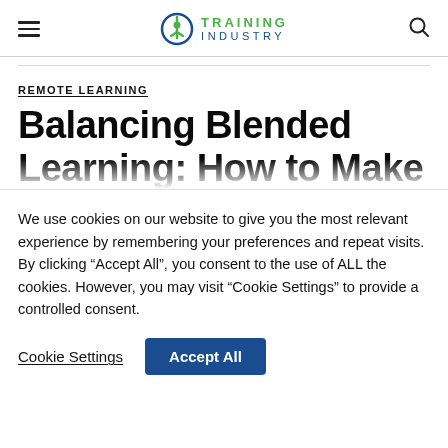Training Industry
REMOTE LEARNING
Balancing Blended Learning: How to Make
We use cookies on our website to give you the most relevant experience by remembering your preferences and repeat visits. By clicking “Accept All”, you consent to the use of ALL the cookies. However, you may visit “Cookie Settings” to provide a controlled consent.
Cookie Settings | Accept All